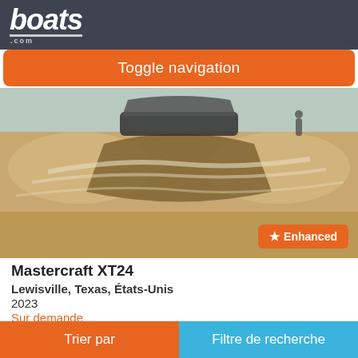boats.com
Toggle navigation
[Figure (photo): A speedboat creating large waves on water, viewed from behind, with a sandy/brown water wake and a person visible in the background. An 'Enhanced' badge with a star appears in the bottom-right of the image.]
Mastercraft XT24
Lewisville, Texas, États-Unis
2023
Sur demande
The XT24 delivers bold looks, big waves and the most customization in the market. Endless waves for all riders and styles are a breeze with the advanced SurfStar system and 3,600 pounds of built-in ballast. Comfort abounds with state-of-the-art convertible seating, including the coolest
Trier par    Filtre de recherche